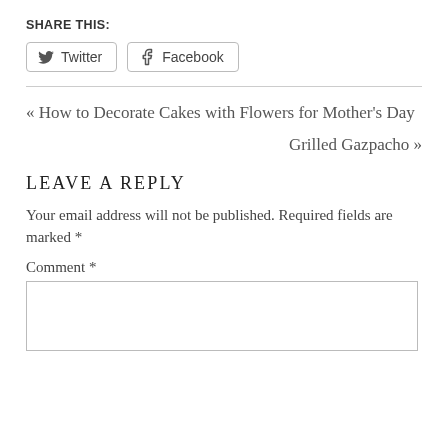SHARE THIS:
Twitter  Facebook
« How to Decorate Cakes with Flowers for Mother's Day
Grilled Gazpacho »
LEAVE A REPLY
Your email address will not be published. Required fields are marked *
Comment *